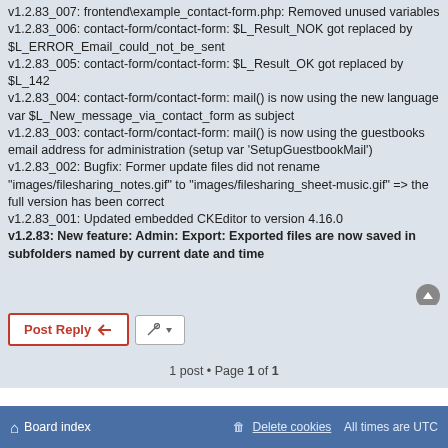v1.2.83_007: frontend\example_contact-form.php: Removed unused variables
v1.2.83_006: contact-form/contact-form: $L_Result_NOK got replaced by $L_ERROR_Email_could_not_be_sent
v1.2.83_005: contact-form/contact-form: $L_Result_OK got replaced by $L_142
v1.2.83_004: contact-form/contact-form: mail() is now using the new language var $L_New_message_via_contact_form as subject
v1.2.83_003: contact-form/contact-form: mail() is now using the guestbooks email address for administration (setup var 'SetupGuestbookMail')
v1.2.83_002: Bugfix: Former update files did not rename "images/filesharing_notes.gif" to "images/filesharing_sheet-music.gif" => the full version has been correct
v1.2.83_001: Updated embedded CKEditor to version 4.16.0
v1.2.83: New feature: Admin: Export: Exported files are now saved in subfolders named by current date and time
1 post • Page 1 of 1
Board index    Delete cookies    All times are UTC